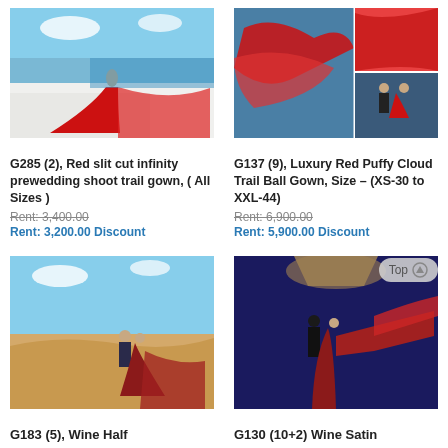[Figure (photo): Woman in long flowing red gown on white terrace with sea view (G285)]
G285 (2), Red slit cut infinity prewedding shoot trail gown, ( All Sizes )
Rent: 3,400.00
Rent: 3,200.00 Discount
[Figure (photo): Collage of 3 photos: red cloud-like fabric in sky, couple in red gown, close-up pink fabric (G137)]
G137 (9), Luxury Red Puffy Cloud Trail Ball Gown, Size – (XS-30 to XXL-44)
Rent: 6,900.00
Rent: 5,900.00 Discount
[Figure (photo): Couple in sand dunes, woman in wine/red flowing gown (G183)]
G183 (5), Wine Half
[Figure (photo): Couple standing, woman in wine satin ball gown with flowing fabric (G130)]
G130 (10+2) Wine Satin